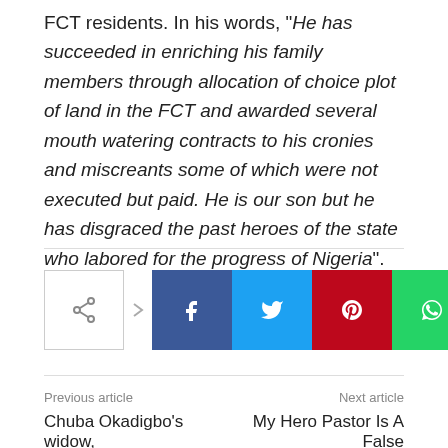FCT residents. In his words, "He has succeeded in enriching his family members through allocation of choice plot of land in the FCT and awarded several mouth watering contracts to his cronies and miscreants some of which were not executed but paid. He is our son but he has disgraced the past heroes of the state who labored for the progress of Nigeria".
[Figure (infographic): Social sharing buttons row: share icon with arrow, then Facebook, Twitter, Pinterest, WhatsApp, Email, and Print buttons]
Previous article
Next article
Chuba Okadigbo's widow,
My Hero Pastor Is A False